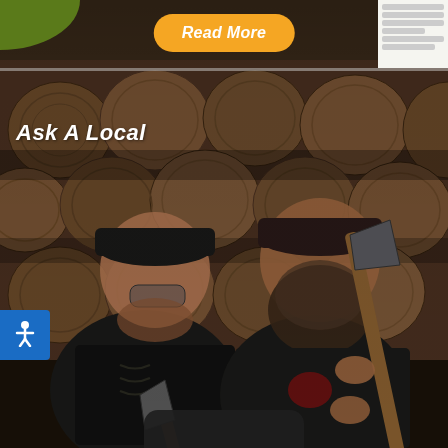[Figure (photo): Two men standing in front of a wood pile background, both wearing dark baseball caps and black t-shirts. The man on the left holds an axe, and the man on the right holds a long-handled axe or hatchet. A blue accessibility icon button is visible on the left edge. A yellow 'Read More' button appears at the top center. The text 'Ask A Local' appears in white italic bold text in the upper left area of the photo. A dark rounded bar is partially visible at the bottom center.]